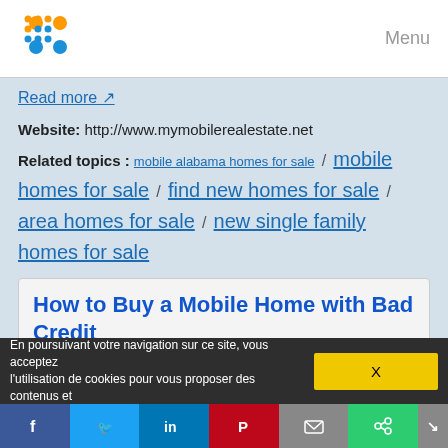Menu
Read more
Website: http://www.mymobilerealestate.net
Related topics : mobile alabama homes for sale / mobile homes for sale / find new homes for sale / area homes for sale / new single family homes for sale
How to Buy a Mobile Home with Bad Credit
Buying and Selling a Manufactured Home
You've found just the perfect mobile home and total bliss awaits. But your credit isn't so great, so you figure it's time to brush up on loans types and credit scores.
As you begin, pause to remember that bad credit is just a phase, it's not who you are or what you will become. Keep a smile on your face as you go through the extra work necessary to get a...
En poursuivant votre navigation sur ce site, vous acceptez l'utilisation de cookies pour vous proposer des contenus et